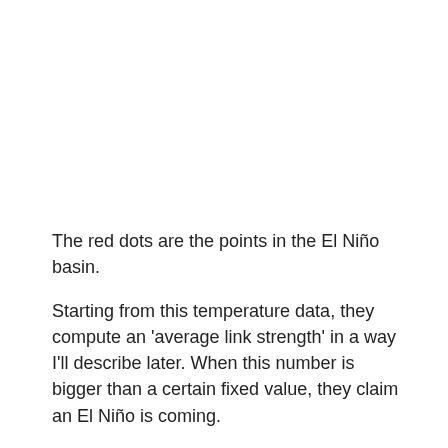The red dots are the points in the El Niño basin.
Starting from this temperature data, they compute an 'average link strength' in a way I'll describe later. When this number is bigger than a certain fixed value, they claim an El Niño is coming.
How do they decide if they're right? How do we tell when an El Niño actually arrives? One way is to use the 'Niño 3.4 index'. This the area-averaged sea surface temperature anomaly in the yellow region here: